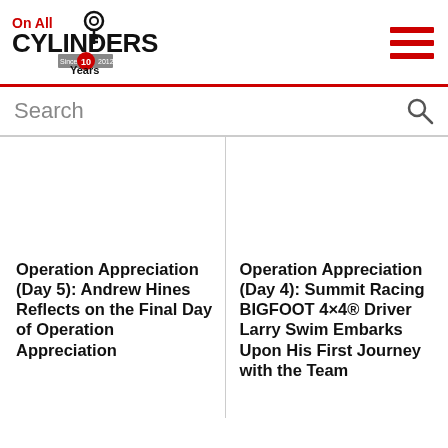On All Cylinders — 10 Years (logo and hamburger menu)
Search
Operation Appreciation (Day 5): Andrew Hines Reflects on the Final Day of Operation Appreciation
Operation Appreciation (Day 4): Summit Racing BIGFOOT 4×4® Driver Larry Swim Embarks Upon His First Journey with the Team